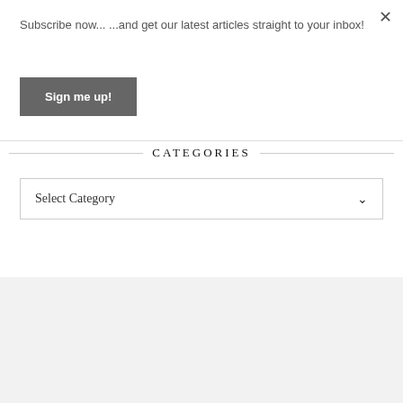×
Subscribe now... ...and get our latest articles straight to your inbox!
Sign me up!
CATEGORIES
Select Category
[Figure (other): Gray footer area with up caret icon and yellow bar at bottom]